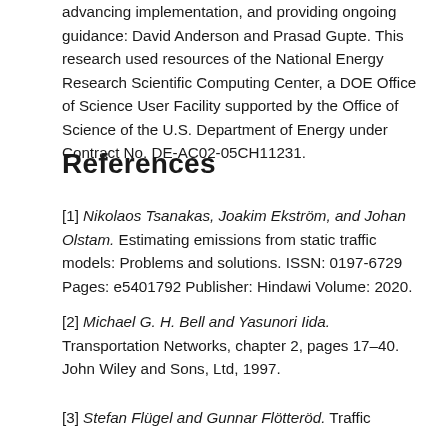advancing implementation, and providing ongoing guidance: David Anderson and Prasad Gupte. This research used resources of the National Energy Research Scientific Computing Center, a DOE Office of Science User Facility supported by the Office of Science of the U.S. Department of Energy under Contract No. DE-AC02-05CH11231.
References
[1] Nikolaos Tsanakas, Joakim Ekström, and Johan Olstam. Estimating emissions from static traffic models: Problems and solutions. ISSN: 0197-6729 Pages: e5401792 Publisher: Hindawi Volume: 2020.
[2] Michael G. H. Bell and Yasunori Iida. Transportation Networks, chapter 2, pages 17–40. John Wiley and Sons, Ltd, 1997.
[3] Stefan Flügel and Gunnar Flötteröd. Traffic